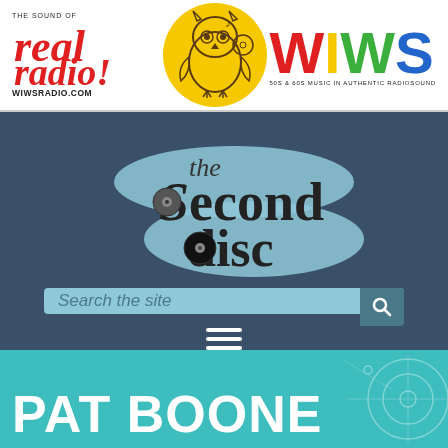[Figure (logo): Top banner with Real Radio logo (wiwsradio.com), an owl mascot in a yellow circle, and WIWS colorful logo with tagline '50s & 60s Music in Authentic Radiosound']
[Figure (logo): The Second Disc website logo on dark blue background - stylized text with a vinyl record graphic]
[Figure (screenshot): Search bar reading 'Search the site' with a search icon, on dark blue background]
[Figure (illustration): Hamburger menu icon (three horizontal white bars) on dark blue background]
PAT BOONE